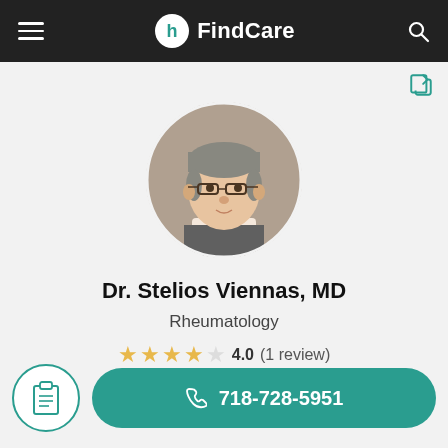FindCare
[Figure (photo): Circular profile photo of Dr. Stelios Viennas, MD — middle-aged man with gray hair and glasses]
Dr. Stelios Viennas, MD
Rheumatology
4.0 (1 review)
Leave a review
718-728-5951